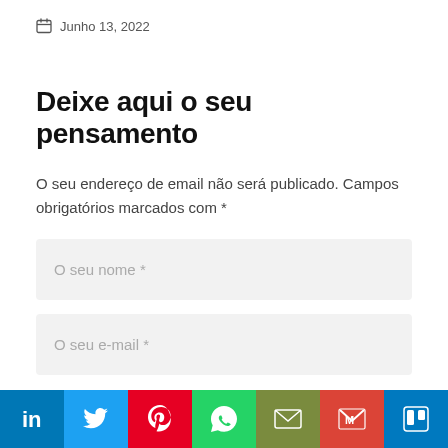Junho 13, 2022
Deixe aqui o seu pensamento
O seu endereço de email não será publicado. Campos obrigatórios marcados com *
O seu nome *
O seu e-mail *
[Figure (infographic): Social sharing bar with icons: LinkedIn, Twitter, Pinterest, WhatsApp, Email, Gmail, Trello]